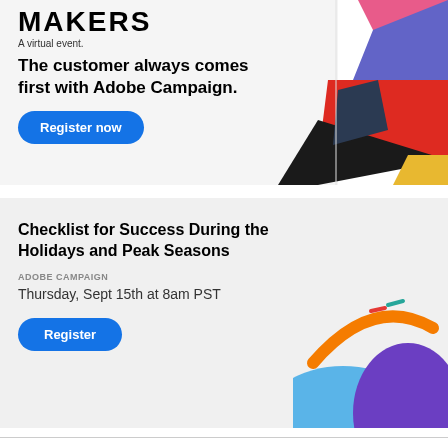MAKERS
A virtual event.
The customer always comes first with Adobe Campaign.
Register now
[Figure (illustration): Abstract colorful layered geometric shapes in red, blue, black, purple, yellow, pink colors arranged in top-right corner]
Checklist for Success During the Holidays and Peak Seasons
ADOBE CAMPAIGN
Thursday, Sept 15th at 8am PST
Register
[Figure (illustration): Abstract illustration with blue hill, purple dome, orange swoosh arc, and small red/teal decorative marks on white background]